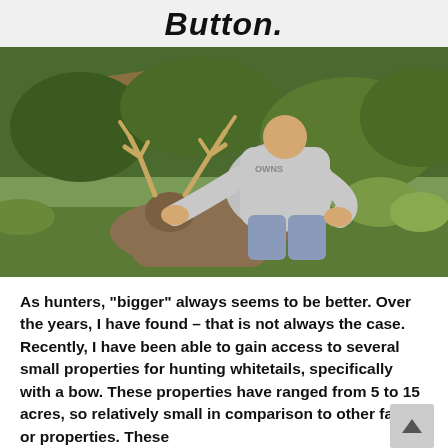Button.
[Figure (photo): Hunter kneeling behind a large whitetail buck with prominent antlers, outdoors in a wooded area with green vegetation and logs in background.]
As hunters, "bigger" always seems to be better. Over the years, I have found – that is not always the case. Recently, I have been able to gain access to several small properties for hunting whitetails, specifically with a bow. These properties have ranged from 5 to 15 acres, so relatively small in comparison to other farms or properties. These